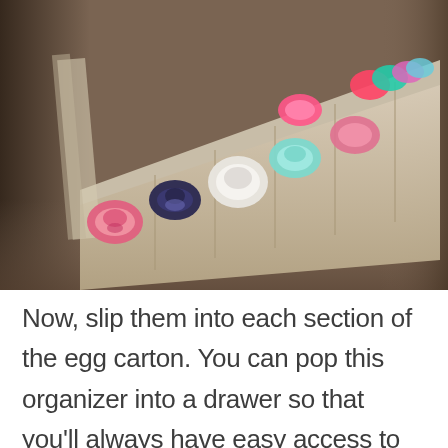[Figure (photo): A photograph of rolled-up baby socks organized in an egg carton. The socks are colorful (pink, teal, white, navy, patterned) and neatly placed in each section of the cardboard egg carton. The carton sits on what appears to be a wooden surface, with a warm blurry background.]
Now, slip them into each section of the egg carton. You can pop this organizer into a drawer so that you’ll always have easy access to them, too. As your child